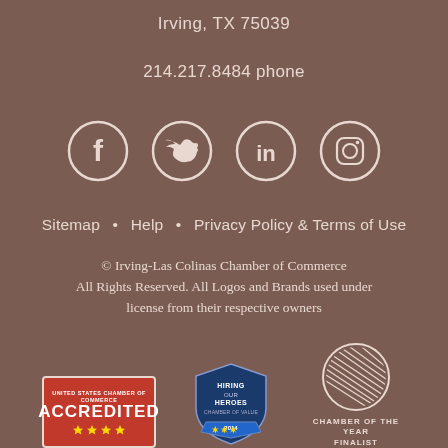Irving, TX 75039
214.217.8484 phone
[Figure (other): Four social media icons in circles: Facebook, Twitter, LinkedIn, Instagram]
Sitemap    Help    Privacy Policy & Terms of Use
© Irving-Las Colinas Chamber of Commerce
All Rights Reserved. All Logos and Brands used under license from their respective owners
[Figure (logo): Three logos: US Chamber of Commerce Accredited, Hiring Our Heroes Chamber of Value, Chamber of the Year Finalist]
CHAMBER OF THE YEAR
FINALIST